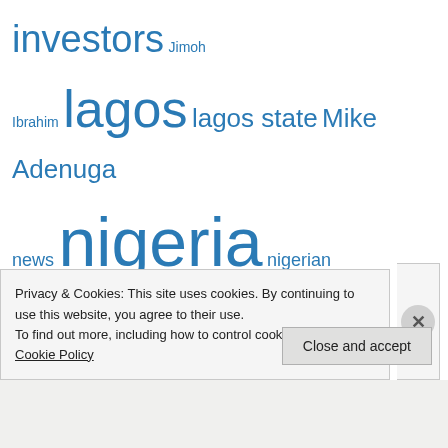[Figure (other): Tag cloud with Nigerian finance/news related terms in varying sizes, all in blue. Terms include: investors, Jimoh Ibrahim, lagos, lagos state, Mike Adenuga, news, nigeria, nigerian banks, nigerian capital market, nigerians, nigerian stock exchange, Nigerian stock market, nitel, nse, Oceanic Bank, oil, oil and gas, ol'victor, ojelabi, Olusegun obasanjo, Ori Adeyemo, otedola, presidency, private placement, SEC, Securities and Exchange Commission, skye bank, soludo, sterling bank, stock market, uba, umar musa yar'adua, United States, united states of]
Privacy & Cookies: This site uses cookies. By continuing to use this website, you agree to their use.
To find out more, including how to control cookies, see here: Cookie Policy
Close and accept